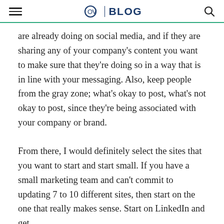OV | BLOG
are already doing on social media, and if they are sharing any of your company’s content you want to make sure that they’re doing so in a way that is in line with your messaging. Also, keep people from the gray zone; what’s okay to post, what’s not okay to post, since they’re being associated with your company or brand.
From there, I would definitely select the sites that you want to start and start small. If you have a small marketing team and can’t commit to updating 7 to 10 different sites, then start on the one that really makes sense. Start on LinkedIn and get